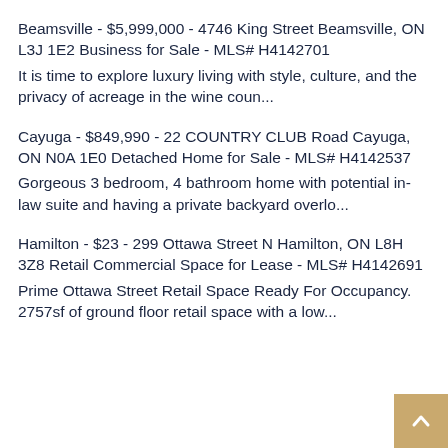Beamsville - $5,999,000 - 4746 King Street Beamsville, ON L3J 1E2 Business for Sale - MLS# H4142701
It is time to explore luxury living with style, culture, and the privacy of acreage in the wine coun...
Cayuga - $849,990 - 22 COUNTRY CLUB Road Cayuga, ON N0A 1E0 Detached Home for Sale - MLS# H4142537
Gorgeous 3 bedroom, 4 bathroom home with potential in-law suite and having a private backyard overlo...
Hamilton - $23 - 299 Ottawa Street N Hamilton, ON L8H 3Z8 Retail Commercial Space for Lease - MLS# H4142691
Prime Ottawa Street Retail Space Ready For Occupancy. 2757sf of ground floor retail space with a low...